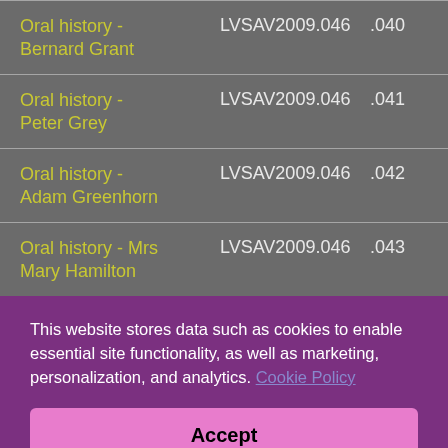| Item | ID | Number |
| --- | --- | --- |
| Oral history - Bernard Grant | LVSAV2009.046 | .040 |
| Oral history - Peter Grey | LVSAV2009.046 | .041 |
| Oral history - Adam Greenhorn | LVSAV2009.046 | .042 |
| Oral history - Mrs Mary Hamilton | LVSAV2009.046 | .043 |
This website stores data such as cookies to enable essential site functionality, as well as marketing, personalization, and analytics. Cookie Policy
Accept
Deny